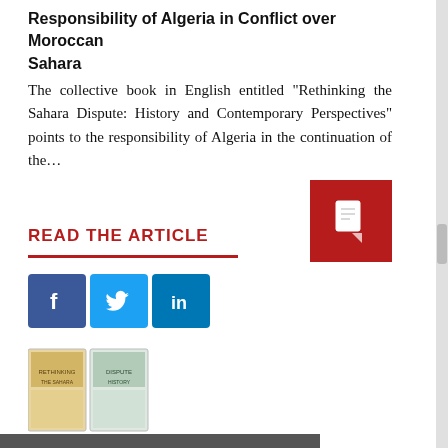Responsibility of Algeria in Conflict over Moroccan Sahara
The collective book in English entitled "Rethinking the Sahara Dispute: History and Contemporary Perspectives" points to the responsibility of Algeria in the continuation of the…
READ THE ARTICLE
[Figure (infographic): Social sharing buttons: Facebook (blue), Twitter (blue), LinkedIn (blue)]
[Figure (photo): Book cover thumbnail - Rethinking the Sahara Dispute]
The collective book in English entitled "Rethinking the Sahara Dispute: History and Contemporary Perspectives" points to the responsibility of Algeria in the continuation of the...